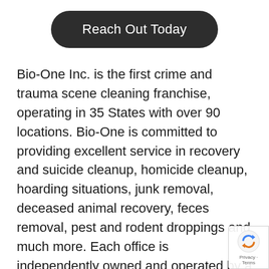[Figure (other): Dark rounded rectangle button with white text reading 'Reach Out Today']
Bio-One Inc. is the first crime and trauma scene cleaning franchise, operating in 35 States with over 90 locations. Bio-One is committed to providing excellent service in recovery and suicide cleanup, homicide cleanup, hoarding situations, junk removal, deceased animal recovery, feces removal, pest and rodent droppings and much more. Each office is independently owned and operated by a member of the local community. For more information about becoming a Bio-One franchisee, visit us at BioOneInc.com and
[Figure (other): reCAPTCHA badge with Privacy - Terms text]